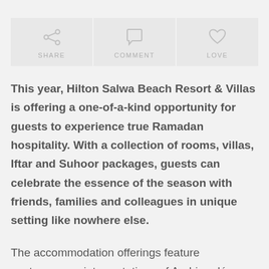[Figure (infographic): Three action buttons in a row: Share (with share icon), Comment (with speech bubble icon), Love (with heart icon), all on light grey background]
This year, Hilton Salwa Beach Resort & Villas is offering a one-of-a-kind opportunity for guests to experience true Ramadan hospitality. With a collection of rooms, villas, Iftar and Suhoor packages, guests can celebrate the essence of the season with friends, families and colleagues in unique setting like nowhere else.
The accommodation offerings feature contemporary interpretations of Arabian décor and guests can choose between elegant rooms with private balconies and terraces with sea views or lush gardens, beach front...